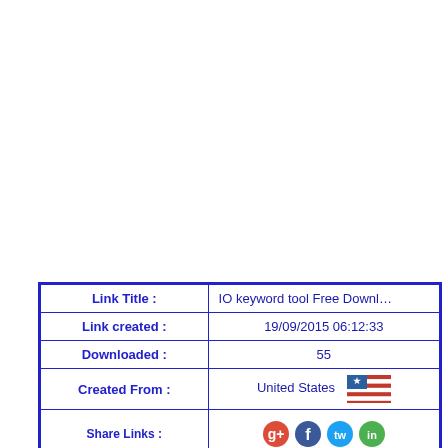| Field | Value |
| --- | --- |
| Link Title : | IO keyword tool Free Downl… |
| Link created : | 19/09/2015 06:12:33 |
| Downloaded : | 55 |
| Created From : | United States [flag] |
| Share Links : | [social icons] |